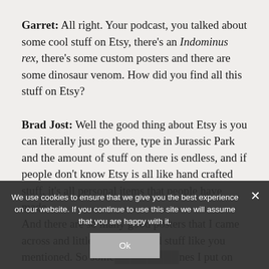Garret: All right. Your podcast, you talked about some cool stuff on Etsy, there's an Indominus rex, there's some custom posters and there are some dinosaur venom. How did you find all this stuff on Etsy?
Brad Jost: Well the good thing about Etsy is you can literally just go there, type in Jurassic Park and the amount of stuff on there is endless, and if people don't know Etsy is all like hand crafted stuff, it's all personal items that people have made... And there are so many good posters that I came across and little sculptures and stuff like you mentioned. So some... ones I put on my podcast last week and just said like look, "People go
We use cookies to ensure that we give you the best experience on our website. If you continue to use this site we will assume that you are happy with it.